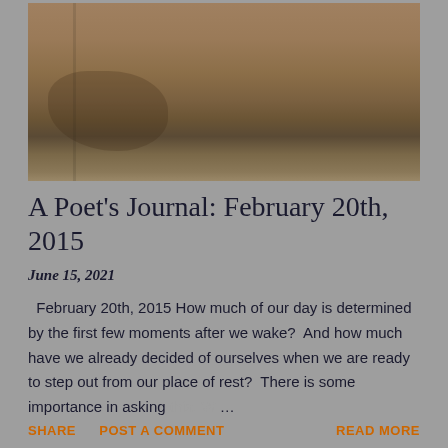[Figure (photo): A sepia-toned East Asian ink painting or scroll art depicting a misty landscape with rocky terrain and sparse vegetation in the lower left, against a tan/brown background.]
A Poet's Journal: February 20th, 2015
June 15, 2021
February 20th, 2015 How much of our day is determined by the first few moments after we wake?  And how much have we already decided of ourselves when we are ready to step out from our place of rest?  There is some importance in asking this. W ...
SHARE   POST A COMMENT   READ MORE